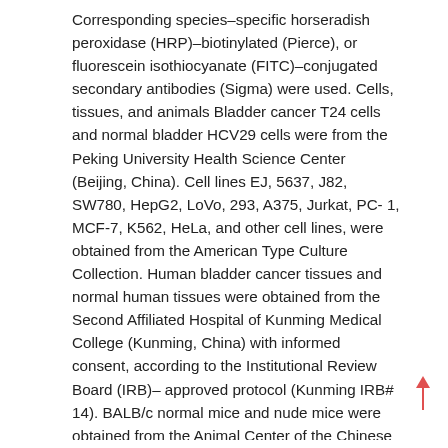Corresponding species–specific horseradish peroxidase (HRP)–biotinylated (Pierce), or fluorescein isothiocyanate (FITC)–conjugated secondary antibodies (Sigma) were used. Cells, tissues, and animals Bladder cancer T24 cells and normal bladder HCV29 cells were from the Peking University Health Science Center (Beijing, China). Cell lines EJ, 5637, J82, SW780, HepG2, LoVo, 293, A375, Jurkat, PC-1, MCF-7, K562, HeLa, and other cell lines, were obtained from the American Type Culture Collection. Human bladder cancer tissues and normal human tissues were obtained from the Second Affiliated Hospital of Kunming Medical College (Kunming, China) with informed consent, according to the Institutional Review Board (IRB)– approved protocol (Kunming IRB# 14). BALB/c normal mice and nude mice were obtained from the Animal Center of the Chinese Academy of Medical Science (Beijing, China). Silencing of Integrin a3b1 and GALNT1 The RNA sequence against Integrin a3, b1, and GALNT1 (N-acetylgalactosaminyltransferase type 1) for RNAi was designed on the basis of pSUPER system instructions (Oligoengine) and cloned into pSUPER-puro that expresses 19 nt hairpin-type short hairpin RNA (shRNA) with a 9 nt loop to targeting a3 b1 and GALNT1 shRNA encoding